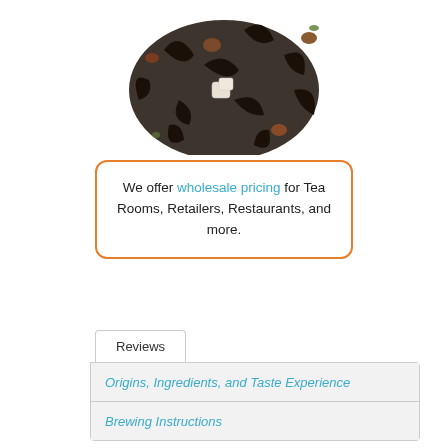[Figure (photo): Loose leaf black tea blend with dried fruits and sugar crystals viewed from above on a white background]
We offer wholesale pricing for Tea Rooms, Retailers, Restaurants, and more.
Reviews
Origins, Ingredients, and Taste Experience
Brewing Instructions